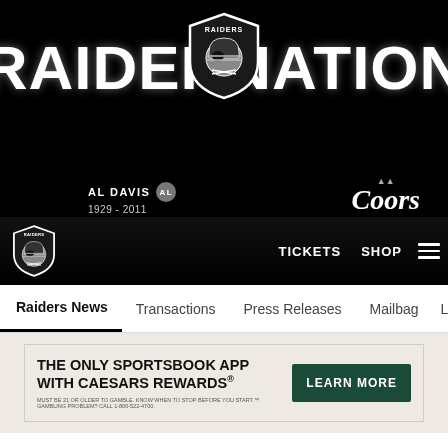[Figure (logo): Raiders Nation header banner with RAIDER NATION text, Raiders shield logo, AL DAVIS 1929-2011 badge, and Coors Light sponsor logo on black background]
TICKETS  SHOP
Raiders News  Transactions  Press Releases  Mailbag  Longform
[Figure (other): Advertisement: THE ONLY SPORTSBOOK APP WITH CAESARS REWARDS® with LEARN MORE button. Must be 21 or older to gamble. Know when to stop before you start. Gambling Problem? Call 1-800-522-4700.]
Raiders at Texans Game Preview
[Figure (other): Social share buttons: Facebook, Twitter, Email, Link icons in circular outlines]